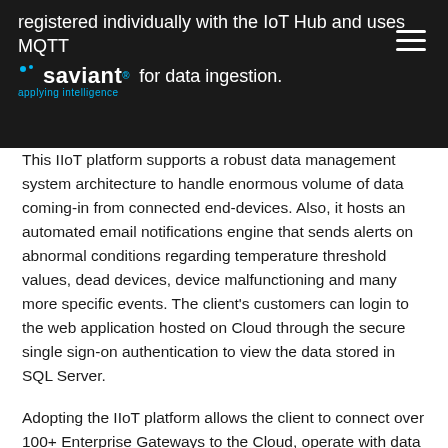registered individually with the IoT Hub and uses MQTT for data ingestion.
This IIoT platform supports a robust data management system architecture to handle enormous volume of data coming-in from connected end-devices. Also, it hosts an automated email notifications engine that sends alerts on abnormal conditions regarding temperature threshold values, dead devices, device malfunctioning and many more specific events. The client’s customers can login to the web application hosted on Cloud through the secure single sign-on authentication to view the data stored in SQL Server.
Adopting the IIoT platform allows the client to connect over 100+ Enterprise Gateways to the Cloud, operate with data collection frequency of 1 min to an hr and